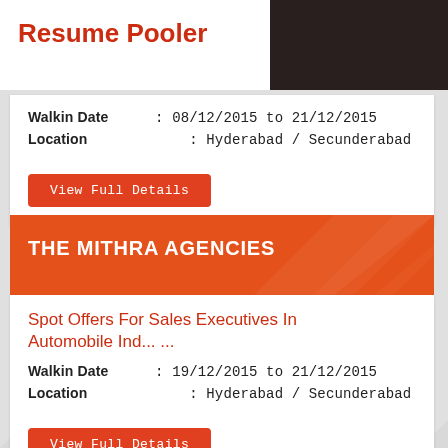Resume Pooler
Walkin Date : 08/12/2015 to 21/12/2015
Location : Hyderabad / Secunderabad
View Full Details
THE MITHRA AGENCIES
Spot Offers For Sales Executives In Automobile Ind... ...
Walkin Date : 19/12/2015 to 21/12/2015
Location : Hyderabad / Secunderabad
View Full Details